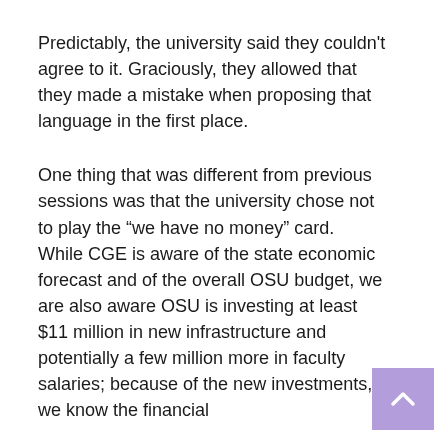Predictably, the university said they couldn't agree to it. Graciously, they allowed that they made a mistake when proposing that language in the first place.
One thing that was different from previous sessions was that the university chose not to play the “we have no money” card.  While CGE is aware of the state economic forecast and of the overall OSU budget, we are also aware OSU is investing at least $11 million in new infrastructure and potentially a few million more in faculty salaries; because of the new investments, we know the financial